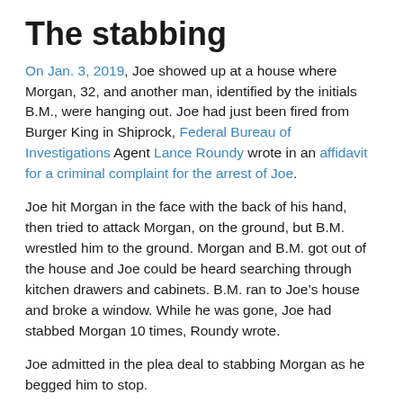The stabbing
On Jan. 3, 2019, Joe showed up at a house where Morgan, 32, and another man, identified by the initials B.M., were hanging out. Joe had just been fired from Burger King in Shiprock, Federal Bureau of Investigations Agent Lance Roundy wrote in an affidavit for a criminal complaint for the arrest of Joe.
Joe hit Morgan in the face with the back of his hand, then tried to attack Morgan, on the ground, but B.M. wrestled him to the ground. Morgan and B.M. got out of the house and Joe could be heard searching through kitchen drawers and cabinets. B.M. ran to Joe’s house and broke a window. While he was gone, Joe had stabbed Morgan 10 times, Roundy wrote.
Joe admitted in the plea deal to stabbing Morgan as he begged him to stop.